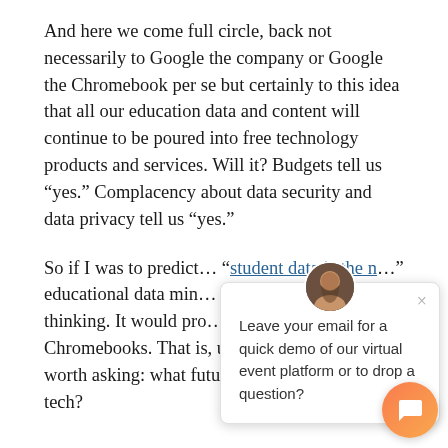And here we come full circle, back not necessarily to Google the company or Google the Chromebook per se but certainly to this idea that all our education data and content will continue to be poured into free technology products and services. Will it? Budgets tell us “yes.” Complacency about data security and data privacy tell us “yes.”
So if I was to predict … “student data is the n…” educational data min… ed-tech surveillance … thinking. It would pro… prediction about Chromebooks. That is, utterly wrong. Again, it’s worth asking: what future are we building for ed-tech?
[Figure (other): Chat popup overlay with avatar of a man, close button (x), and text: 'Leave your email for a quick demo of our virtual event platform or to drop a question?']
[Figure (other): Orange circular chat button in bottom-right corner with chat bubble icon]